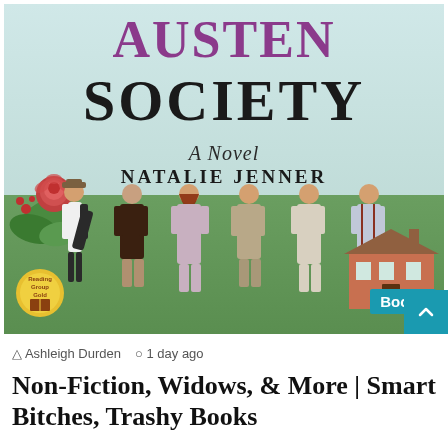[Figure (illustration): Book cover of 'The Jane Austen Society: A Novel' by Natalie Jenner. Shows the title text in large letters at top (AUSTEN in purple, SOCIETY in black), subtitle 'A Novel' in cursive, author name NATALIE JENNER. Background features a light blue sky, green countryside, floral decoration on left, six people viewed from behind standing in a line, a red brick English house on the right, a Reading Group Gold badge bottom-left, and a teal 'Books' label bottom-right.]
Ashleigh Durden  1 day ago
Non-Fiction, Widows, & More | Smart Bitches, Trashy Books